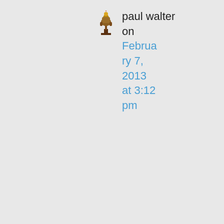[Figure (illustration): Small avatar icon of a candlestick or trophy-like figure in dark brown/gold color]
paul walter on February 7, 2013 at 3:12 pm
Helvi, gave up on Eliss' blog, because of problems